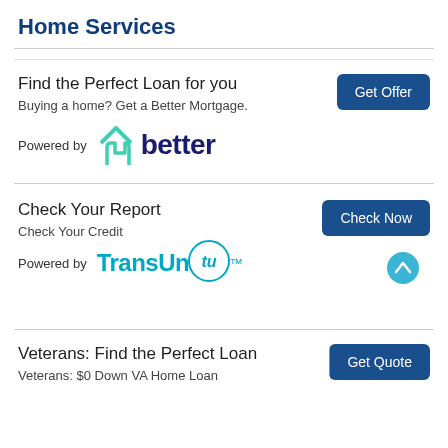Home Services
Find the Perfect Loan for you
Buying a home? Get a Better Mortgage.
[Figure (logo): Better mortgage logo - teal house icon with 'better' text in dark navy bold font]
Check Your Report
Check Your Credit
[Figure (logo): TransUnion logo with teal 'TransUnion' text and circular TU badge]
Veterans: Find the Perfect Loan
Veterans: $0 Down VA Home Loan